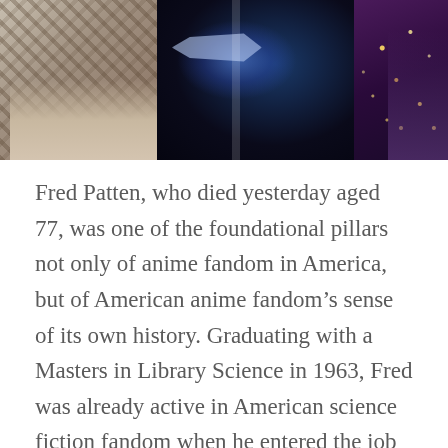[Figure (photo): Composite photo showing a person in a checkered blazer holding items on the left, a space scene with a spacecraft and nebula in the center, and an anime-style figure with sparkles on the right.]
Fred Patten, who died yesterday aged 77, was one of the foundational pillars not only of anime fandom in America, but of American anime fandom's sense of its own history. Graduating with a Masters in Library Science in 1963, Fred was already active in American science fiction fandom when he entered the job market. For much of his career, he led a double life, writing for professional and amateur fanzines and running a comics shop, while